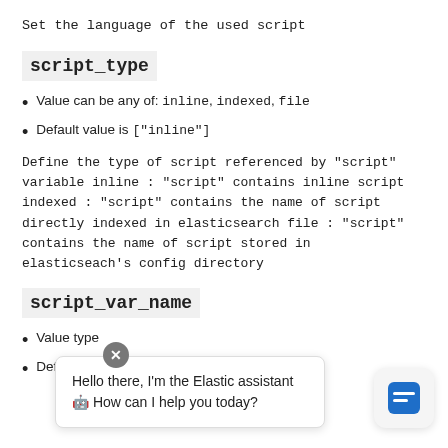Set the language of the used script
script_type
Value can be any of: inline, indexed, file
Default value is ["inline"]
Define the type of script referenced by "script" variable inline : "script" contains inline script indexed : "script" contains the name of script directly indexed in elasticsearch file : "script" contains the name of script stored in elasticseach's config directory
script_var_name
Value type is...
Default value is...
[Figure (other): Chat popup overlay with close button showing 'Hello there, I'm the Elastic assistant 🤖 How can I help you today?' and a blue chat icon in the bottom right corner]